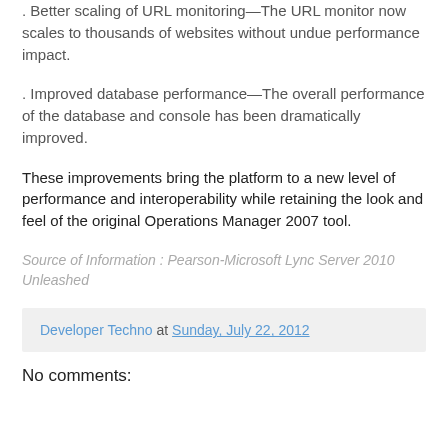. Better scaling of URL monitoring—The URL monitor now scales to thousands of websites without undue performance impact.
. Improved database performance—The overall performance of the database and console has been dramatically improved.
These improvements bring the platform to a new level of performance and interoperability while retaining the look and feel of the original Operations Manager 2007 tool.
Source of Information : Pearson-Microsoft Lync Server 2010 Unleashed
Developer Techno at Sunday, July 22, 2012
No comments: